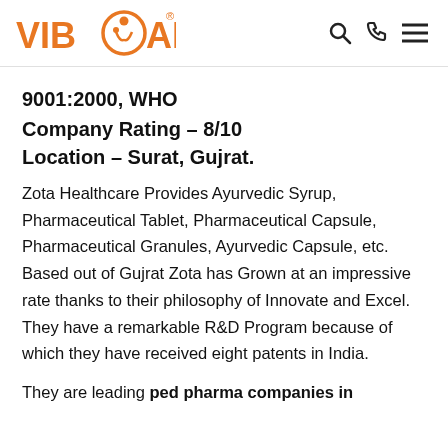VIBCARE [logo]
9001:2000, WHO
Company Rating – 8/10
Location – Surat, Gujrat.
Zota Healthcare Provides Ayurvedic Syrup, Pharmaceutical Tablet, Pharmaceutical Capsule, Pharmaceutical Granules, Ayurvedic Capsule, etc. Based out of Gujrat Zota has Grown at an impressive rate thanks to their philosophy of Innovate and Excel. They have a remarkable R&D Program because of which they have received eight patents in India.
They are leading ped pharma companies in